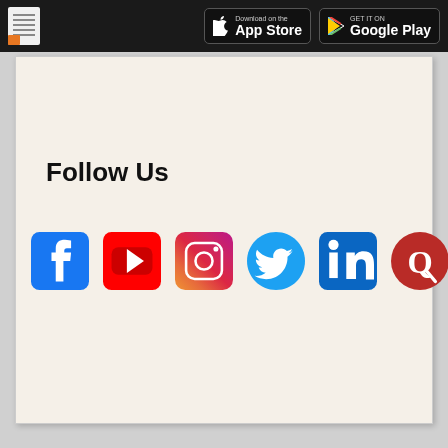App Store   Google Play
Follow Us
[Figure (illustration): Row of six social media icons: Facebook, YouTube, Instagram, Twitter, LinkedIn, Quora]